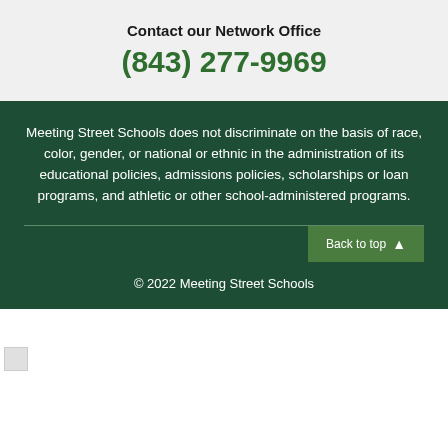Contact our Network Office
(843) 277-9969
Meeting Street Schools does not discriminate on the basis of race, color, gender, or national or ethnic in the administration of its educational policies, admissions policies, scholarships or loan programs, and athletic or other school-administered programs.
Back to top
© 2022 Meeting Street Schools